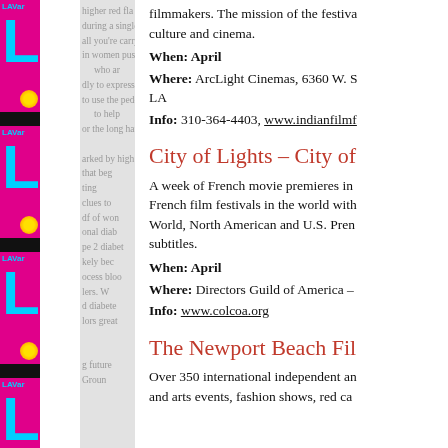[Figure (illustration): Left side decorative magazine strip showing repeating 'LAVar' magazine covers with cyan letter L on magenta background, with black photo strips, repeated vertically four times.]
filmmakers. The mission of the festival is to promote culture and cinema.
When: April
Where: ArcLight Cinemas, 6360 W. S... LA
Info: 310-364-4403, www.indianfilmf...
City of Lights – City of ...
A week of French movie premieres in ... French film festivals in the world with ... World, North American and U.S. Prem... subtitles.
When: April
Where: Directors Guild of America – ...
Info: www.colcoa.org
The Newport Beach Fil...
Over 350 international independent an... and arts events, fashion shows, red ca...